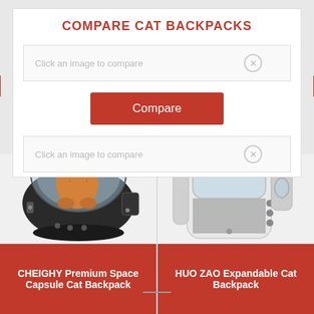COMPARE CAT BACKPACKS
Click an image to compare
Compare
Click an image to compare
[Figure (photo): Photo of CHEIGHY Premium Space Capsule Cat Backpack - black bubble capsule backpack with an orange cat inside, viewed from the side]
CHEIGHY Premium Space Capsule Cat Backpack
[Figure (photo): Photo of HUO ZAO Expandable Cat Backpack - white hard-shell bubble backpack with expandable compartment, viewed from the front/side]
HUO ZAO Expandable Cat Backpack